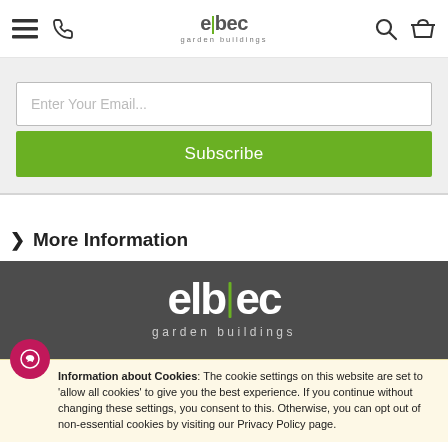elbec garden buildings — header navigation
Enter Your Email...
Subscribe
> More Information
[Figure (logo): elbec garden buildings logo in white on dark grey background]
Information about Cookies: The cookie settings on this website are set to 'allow all cookies' to give you the best experience. If you continue without changing these settings, you consent to this. Otherwise, you can opt out of non-essential cookies by visiting our Privacy Policy page.